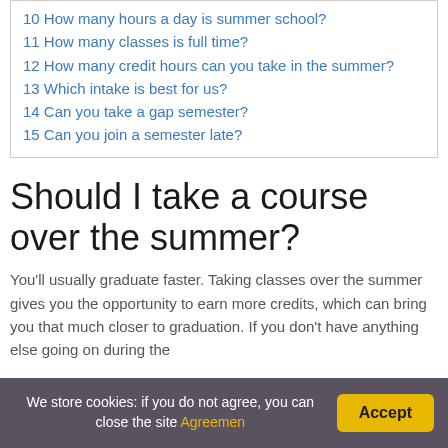10 How many hours a day is summer school?
11 How many classes is full time?
12 How many credit hours can you take in the summer?
13 Which intake is best for us?
14 Can you take a gap semester?
15 Can you join a semester late?
Should I take a course over the summer?
You’ll usually graduate faster. Taking classes over the summer gives you the opportunity to earn more credits, which can bring you that much closer to graduation. If you don’t have anything else going on during the
We store cookies: if you do not agree, you can close the site Agreemen